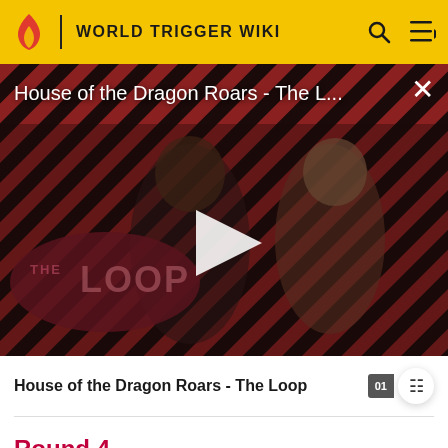WORLD TRIGGER WIKI
[Figure (screenshot): Video player thumbnail showing two characters from House of the Dragon against a red and black diagonal stripe background with 'THE LOOP' logo overlay and a play button in the center]
House of the Dragon Roars - The L...
House of the Dragon Roars - The Loop
Round 4
| Squad | Points | Survival | Total |
| --- | --- | --- | --- |